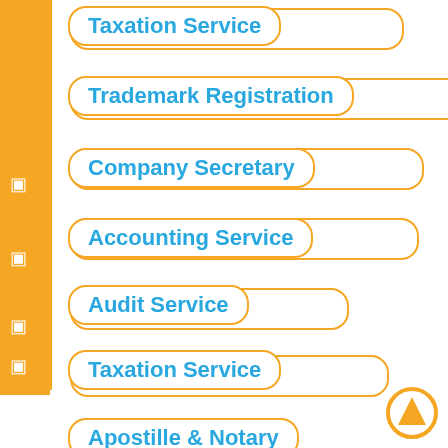Taxation Service
Trademark Registration
Company Secretary
Accounting Service
Audit Service
Taxation Service
Apostille & Notary
Bank Account Opening
[Figure (logo): Orange circle with upward-pointing arrow triangle logo]